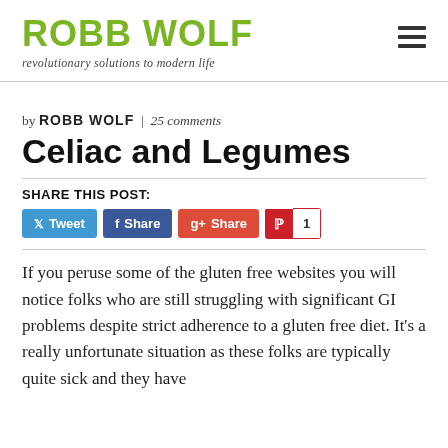ROBB WOLF | revolutionary solutions to modern life
by ROBB WOLF | 25 comments
Celiac and Legumes
SHARE THIS POST:
If you peruse some of the gluten free websites you will notice folks who are still struggling with significant GI problems despite strict adherence to a gluten free diet. It's a really unfortunate situation as these folks are typically quite sick and they have